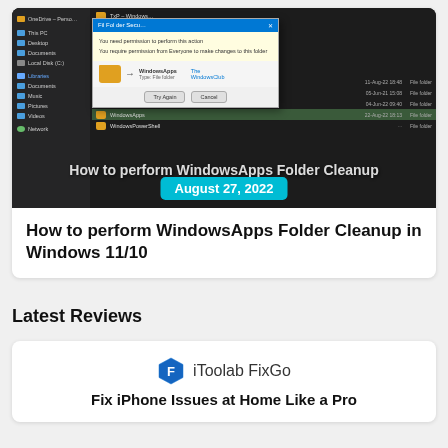[Figure (screenshot): Windows File Explorer showing WindowsApps folder with a permissions dialog overlay, dark theme UI]
How to perform WindowsApps Folder Cleanup in Windows 11/10
Latest Reviews
[Figure (logo): iToolab FixGo logo icon (blue hexagon with F letter)]
Fix iPhone Issues at Home Like a Pro